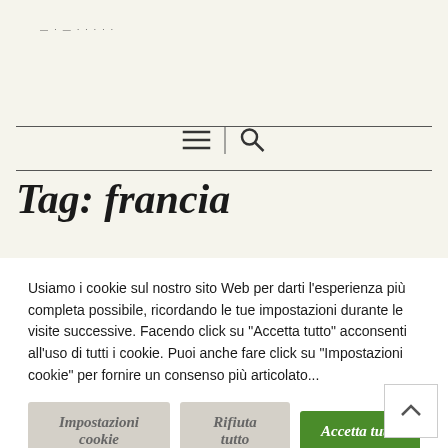— · — · · · · ·
[Figure (other): Navigation bar with hamburger menu icon and search icon separated by a vertical divider]
Tag: francia
Usiamo i cookie sul nostro sito Web per darti l'esperienza più completa possibile, ricordando le tue impostazioni durante le visite successive. Facendo click su "Accetta tutto" acconsenti all'uso di tutti i cookie. Puoi anche fare click su "Impostazioni cookie" per fornire un consenso più articolato...
Impostazioni cookie
Rifiuta tutto
Accetta tutto